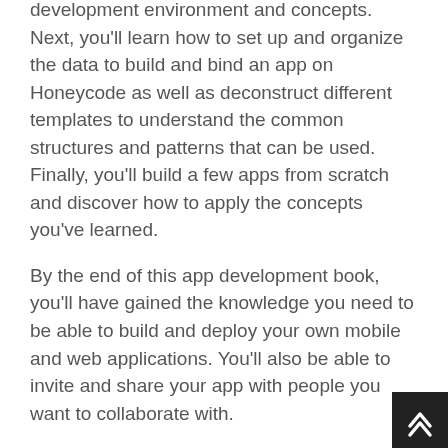development environment and concepts. Next, you'll learn how to set up and organize the data to build and bind an app on Honeycode as well as deconstruct different templates to understand the common structures and patterns that can be used. Finally, you'll build a few apps from scratch and discover how to apply the concepts you've learned.
By the end of this app development book, you'll have gained the knowledge you need to be able to build and deploy your own mobile and web applications. You'll also be able to invite and share your app with people you want to collaborate with.
What you will learn
Build mobile and web applications with simple drag-drops and customizations
Deploy and share apps and collaborate in real-time with your team
Understand how to create automated processes in